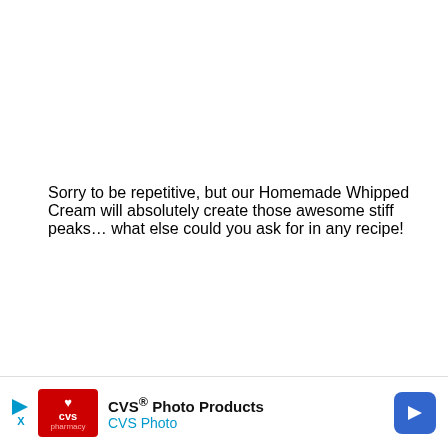Sorry to be repetitive, but our Homemade Whipped Cream will absolutely create those awesome stiff peaks… what else could you ask for in any recipe!
[Figure (photo): Photo of Homemade Whipped Cream with dark overlay text box showing 'Homemade Whipped Cream' title and a whisk in the background]
CVS® Photo Products CVS Photo